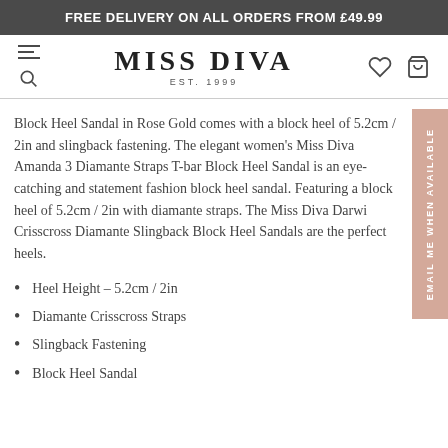FREE DELIVERY ON ALL ORDERS FROM £49.99
[Figure (logo): Miss Diva Est. 1999 logo with navigation icons]
Block Heel Sandal in Rose Gold comes with a block heel of 5.2cm / 2in and slingback fastening. The elegant women's Miss Diva Amanda 3 Diamante Straps T-bar Block Heel Sandal is an eye-catching and statement fashion block heel sandal. Featuring a block heel of 5.2cm / 2in with diamante straps. The Miss Diva Darwin Crisscross Diamante Slingback Block Heel Sandals are the perfect heels.
Heel Height - 5.2cm / 2in
Diamante Crisscross Straps
Slingback Fastening
Block Heel Sandal